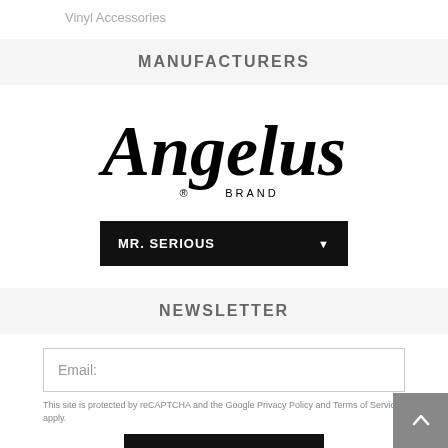Vinyl Accessories
MANUFACTURERS
[Figure (logo): Angelus Brand logo in black gothic/blackletter font with registered trademark symbol]
MR. SERIOUS
NEWSLETTER
Email:
This site is protected by reCAPTCHA and the Google Privacy Policy and Terms of Service apply.
SUBSCRIBE